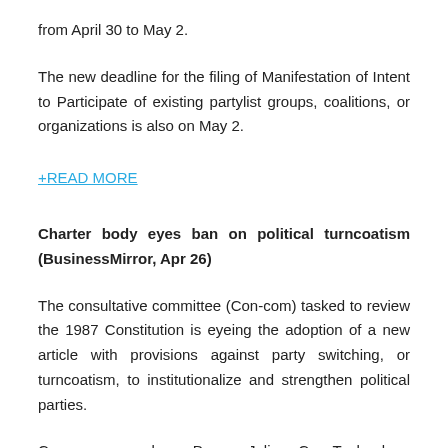from April 30 to May 2.
The new deadline for the filing of Manifestation of Intent to Participate of existing partylist groups, coalitions, or organizations is also on May 2.
+READ MORE
Charter body eyes ban on political turncoatism (BusinessMirror, Apr 26)
The consultative committee (Con-com) tasked to review the 1987 Constitution is eyeing the adoption of a new article with provisions against party switching, or turncoatism, to institutionalize and strengthen political parties.
Con-com member Dean Julio C. Teehankee, subcommittee chairman on leveling the political playing field, said they have already agreed in